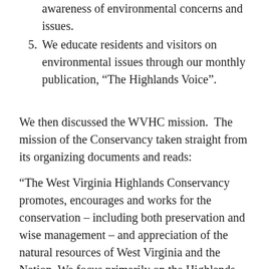awareness of environmental concerns and issues.
5. We educate residents and visitors on environmental issues through our monthly publication, “The Highlands Voice”.
We then discussed the WVHC mission. The mission of the Conservancy taken straight from its organizing documents and reads:
“The West Virginia Highlands Conservancy promotes, encourages and works for the conservation – including both preservation and wise management – and appreciation of the natural resources of West Virginia and the Nation. We focus primarily on the Highlands Region of